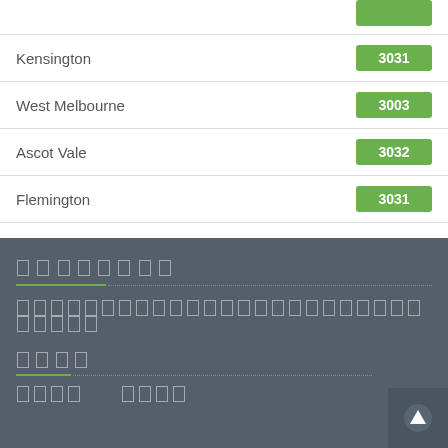| Suburb | Postcode |
| --- | --- |
|  |  |
| Kensington | 3031 |
| West Melbourne | 3003 |
| Ascot Vale | 3032 |
| Flemington | 3031 |
[non-Latin heading]
[non-Latin body text]
[non-Latin subheading]
[non-Latin links]
[Figure (other): Scroll to top button with upward arrow icon]